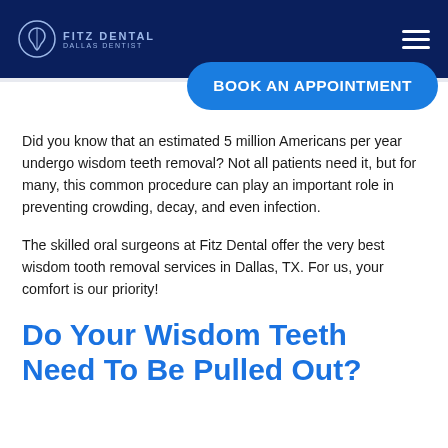FITZ DENTAL
BOOK AN APPOINTMENT
Did you know that an estimated 5 million Americans per year undergo wisdom teeth removal? Not all patients need it, but for many, this common procedure can play an important role in preventing crowding, decay, and even infection.
The skilled oral surgeons at Fitz Dental offer the very best wisdom tooth removal services in Dallas, TX. For us, your comfort is our priority!
Do Your Wisdom Teeth Need To Be Pulled Out?